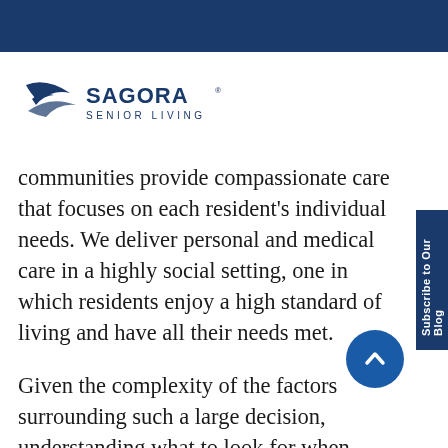[Figure (logo): Sagora Senior Living logo with stylized bird/wave mark in dark blue and the text SAGORA SENIOR LIVING]
communities provide compassionate care that focuses on each resident's individual needs. We deliver personal and medical care in a highly social setting, one in which residents enjoy a high standard of living and have all their needs met.
Given the complexity of the factors surrounding such a large decision, understanding what to look for when asking "is it time for Assisted Living?" can assist in